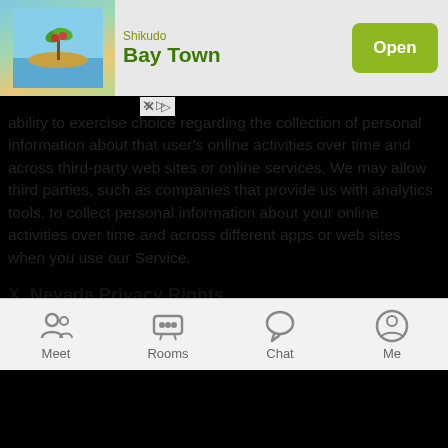[Figure (screenshot): Mobile app advertisement banner for 'Bay Town' game by Shikudo with an Open button]
ability to exercise choice regarding the collection of personal information about that user's online activities over time and across third-party web sites or online services. We may allow third parties, such as companies that provide us with analytics tools, to collect personal information about your online activities over time and across different apps or web sites when you use our Service.
X. Nevada Privacy Rights
We do not sell consumers' covered information for monetary consideration (as defined in Chapter 603A of the Nevada Revised Statutes). However, if you are a Nevada resident, you have the right to submit a request directing us not to sell your personal information. To submit such a request, please contact us by mail at JNJ Mobile Inc., 6 Liberty Sq PMB 96493, Boston MA 02109, by email at support@mocospace.com or contact us here
Meet  Rooms  Chat  Me